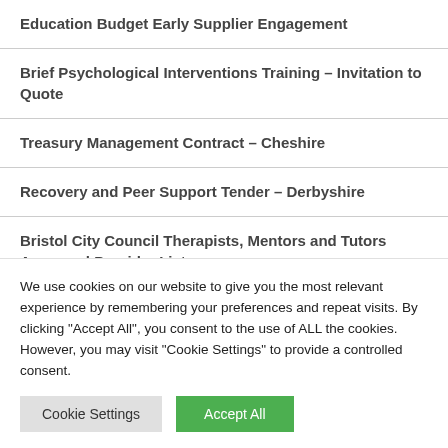Education Budget Early Supplier Engagement
Brief Psychological Interventions Training – Invitation to Quote
Treasury Management Contract – Cheshire
Recovery and Peer Support Tender – Derbyshire
Bristol City Council Therapists, Mentors and Tutors Approved Provider List
We use cookies on our website to give you the most relevant experience by remembering your preferences and repeat visits. By clicking "Accept All", you consent to the use of ALL the cookies. However, you may visit "Cookie Settings" to provide a controlled consent.